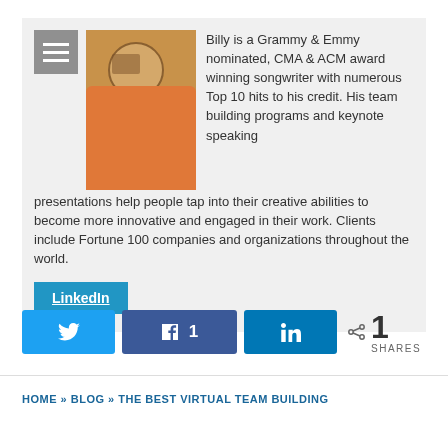Billy is a Grammy & Emmy nominated, CMA & ACM award winning songwriter with numerous Top 10 hits to his credit. His team building programs and keynote speaking presentations help people tap into their creative abilities to become more innovative and engaged in their work. Clients include Fortune 100 companies and organizations throughout the world.
LinkedIn
1 SHARES
HOME » BLOG » THE BEST VIRTUAL TEAM BUILDING